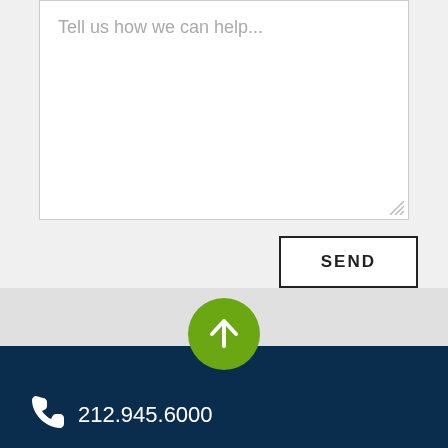Tell us how we can help...
SEND
[Figure (illustration): Green circle with white upward arrow, back-to-top button]
212.945.6000
20 Vesey Street, Suite 601
New York, NY 10007-2913